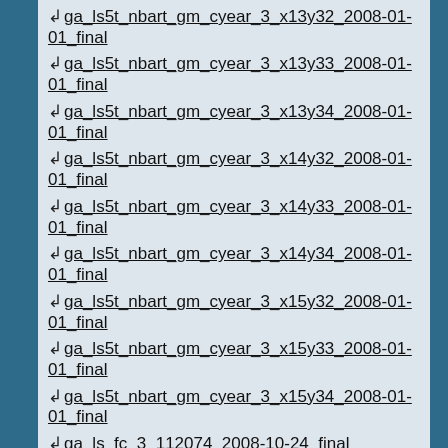↲ ga_ls5t_nbart_gm_cyear_3_x13y32_2008-01-01_final
↲ ga_ls5t_nbart_gm_cyear_3_x13y33_2008-01-01_final
↲ ga_ls5t_nbart_gm_cyear_3_x13y34_2008-01-01_final
↲ ga_ls5t_nbart_gm_cyear_3_x14y32_2008-01-01_final
↲ ga_ls5t_nbart_gm_cyear_3_x14y33_2008-01-01_final
↲ ga_ls5t_nbart_gm_cyear_3_x14y34_2008-01-01_final
↲ ga_ls5t_nbart_gm_cyear_3_x15y32_2008-01-01_final
↲ ga_ls5t_nbart_gm_cyear_3_x15y33_2008-01-01_final
↲ ga_ls5t_nbart_gm_cyear_3_x15y34_2008-01-01_final
↲ ga_ls_fc_3_112074_2008-10-24_final